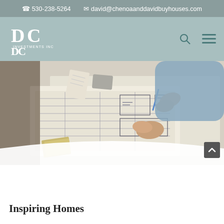530-238-5264  david@chenoaanddavidbuyhouses.com
[Figure (logo): DC Investments Inc logo - white DC letters with 'INVESTMENTS INC' text on sage green/teal background navigation bar]
[Figure (photo): Person working at a desk reviewing architectural blueprints/house plans, holding a pencil, with books and papers nearby]
Inspiring Homes